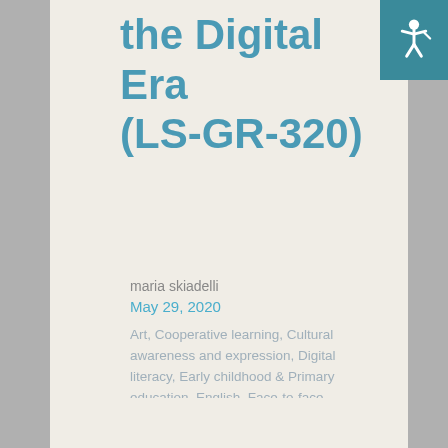the Digital Era (LS-GR-320)
maria skiadelli
May 29, 2020
Art, Cooperative learning, Cultural awareness and expression, Digital literacy, Early childhood & Primary education, English, Face-to-face, Formal, Gamification, Group dynamics, History, Learning Scenarios, Lower Secondary Education, Mind map, Project-based learning, STEAM (STEM + Arts)